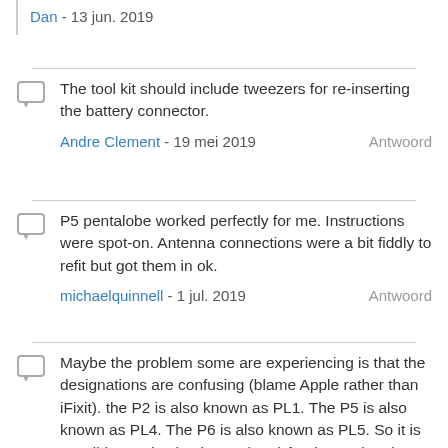Dan - 13 jun. 2019
The tool kit should include tweezers for re-inserting the battery connector.
Andre Clement - 19 mei 2019  Antwoord
P5 pentalobe worked perfectly for me. Instructions were spot-on. Antenna connections were a bit fiddly to refit but got them in ok.
michaelquinnell - 1 jul. 2019  Antwoord
Maybe the problem some are experiencing is that the designations are confusing (blame Apple rather than iFixit). the P2 is also known as PL1. The P5 is also known as PL4. The P6 is also known as PL5. So it is possible to mistake the P6 (PL5) for the P5 (PL4), meaning it (P6-PL5) will be too big, while